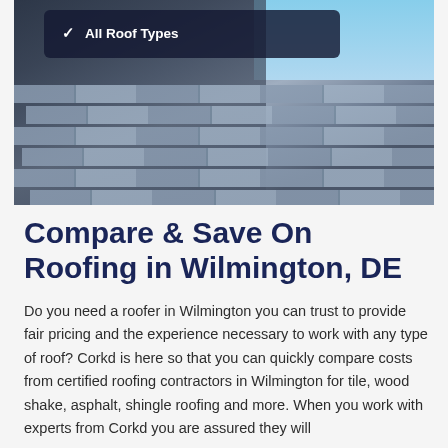[Figure (photo): Roofing photo showing a person working on asphalt shingles with a dark overlay panel showing 'All Roof Types' with a checkmark]
Compare & Save On Roofing in Wilmington, DE
Do you need a roofer in Wilmington you can trust to provide fair pricing and the experience necessary to work with any type of roof? Corkd is here so that you can quickly compare costs from certified roofing contractors in Wilmington for tile, wood shake, asphalt, shingle roofing and more. When you work with experts from Corkd you are assured they will